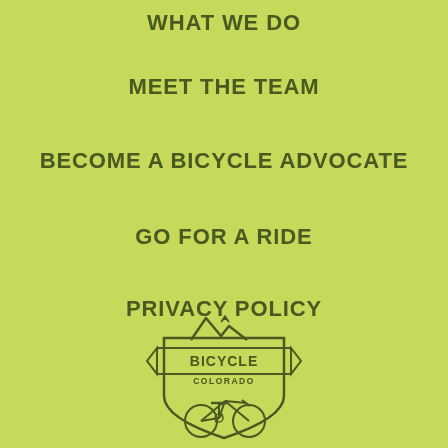WHAT WE DO
MEET THE TEAM
BECOME A BICYCLE ADVOCATE
GO FOR A RIDE
PRIVACY POLICY
[Figure (logo): Bicycle Colorado logo with mountains, shield shape, banner, and bicycle illustration]